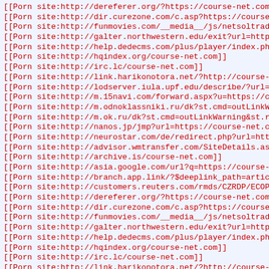[[Porn site:http://dereferer.org/?https://course-net.com]]
[[Porn site:http://dir.curezone.com/c.asp?https://course-ne
[[Porn site:http://funmovies.com/__media__/js/netsoltradema
[[Porn site:http://galter.northwestern.edu/exit?url=https:/
[[Porn site:http://help.dedecms.com/plus/player/index.php?u
[[Porn site:http://hqindex.org/course-net.com]]
[[Porn site:http://irc.lc/course-net.com]]
[[Porn site:http://link.harikonotora.net/?http://course-net
[[Porn site:http://lodserver.iula.upf.edu/describe/?url=htt
[[Porn site:http://m.15navi.com/forward.aspx?u=https://cour
[[Porn site:http://m.odnoklassniki.ru/dk?st.cmd=outLinkWarn
[[Porn site:http://m.ok.ru/dk?st.cmd=outLinkWarning&st.rfn=
[[Porn site:http://nanos.jp/jmp?url=https://course-net.com/
[[Porn site:http://neurostar.com/de/redirect.php?url=https:
[[Porn site:http://advisor.wmtransfer.com/SiteDetails.aspx?
[[Porn site:http://archive.is/course-net.com]]
[[Porn site:http://asia.google.com/url?q=https://course-net
[[Porn site:http://branch.app.link/?$deeplink_path=article%
[[Porn site:http://customers.reuters.com/rmds/CZRDP/ECOPage
[[Porn site:http://dereferer.org/?https://course-net.com]]
[[Porn site:http://dir.curezone.com/c.asp?https://course-ne
[[Porn site:http://funmovies.com/__media__/js/netsoltradema
[[Porn site:http://galter.northwestern.edu/exit?url=https:/
[[Porn site:http://help.dedecms.com/plus/player/index.php?u
[[Porn site:http://hqindex.org/course-net.com]]
[[Porn site:http://irc.lc/course-net.com]]
[[Porn site:http://link.harikonotora.net/?http://course-net
[[Porn site:http://lodserver.iula.upf.edu/describe/?url=htt
[[Porn site:http://m.15navi.com/forward.aspx?u=https://cour
[[Porn site:http://m.odnoklassniki.ru/dk?st.cmd=outLinkWarn